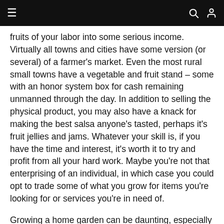≡  🔍 👤
fruits of your labor into some serious income. Virtually all towns and cities have some version (or several) of a farmer's market. Even the most rural small towns have a vegetable and fruit stand – some with an honor system box for cash remaining unmanned through the day. In addition to selling the physical product, you may also have a knack for making the best salsa anyone's tasted, perhaps it's fruit jellies and jams. Whatever your skill is, if you have the time and interest, it's worth it to try and profit from all your hard work. Maybe you're not that enterprising of an individual, in which case you could opt to trade some of what you grow for items you're looking for or services you're in need of.
Growing a home garden can be daunting, especially in your first season or two. But, after plenty of practice and utilizing the knowledge of friends or the internet, it becomes for most people an exciting hobby. On top of all that, gardening is fantastic for your physical and mental health. With the cost of so many things rising, there is no time like the present to start your home garden and use the above-mentioned ways to get the most of it! Now, get growing!